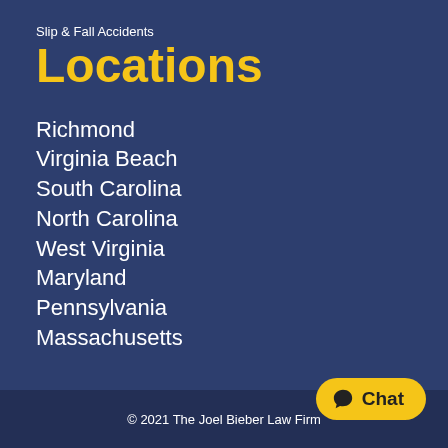Slip & Fall Accidents
Locations
Richmond
Virginia Beach
South Carolina
North Carolina
West Virginia
Maryland
Pennsylvania
Massachusetts
© 2021 The Joel Bieber Law Firm